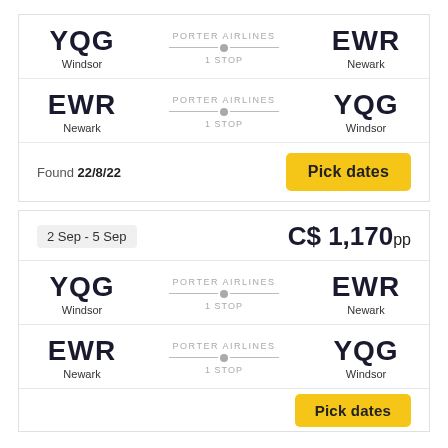[Figure (infographic): Flight card 1: YQG Windsor to EWR Newark via Porter Airlines, 1 Stop]
[Figure (infographic): Flight card 2: EWR Newark to YQG Windsor via Porter Airlines, 1 Stop]
Found 22/8/22
Pick dates
2 Sep - 5 Sep
C$ 1,170pp
[Figure (infographic): Flight card 3: YQG Windsor to EWR Newark via Porter Airlines, 1 Stop]
[Figure (infographic): Flight card 4: EWR Newark to YQG Windsor via Porter Airlines, 1 Stop]